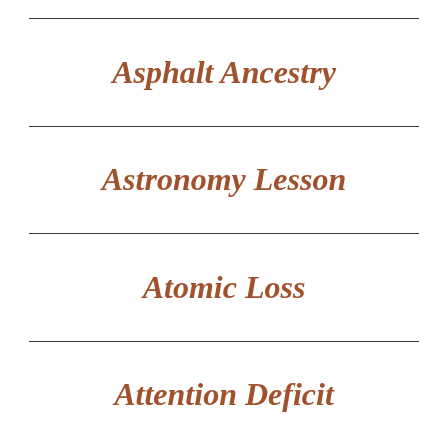Asphalt Ancestry
Astronomy Lesson
Atomic Loss
Attention Deficit